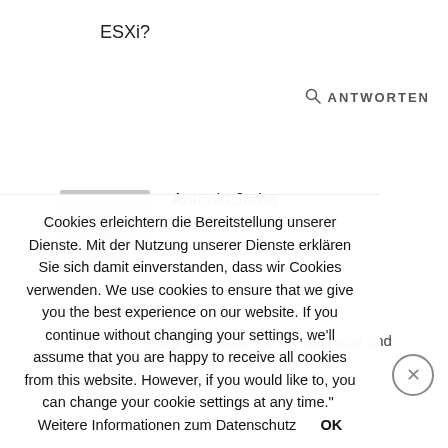ESXi?
ANTWORTEN
Antonio Jorba
4.04.2017 um 13:27 Uhr Uhr
@Andrew:
I think you should use an easy way and install
Cookies erleichtern die Bereitstellung unserer Dienste. Mit der Nutzung unserer Dienste erklären Sie sich damit einverstanden, dass wir Cookies verwenden. We use cookies to ensure that we give you the best experience on our website. If you continue without changing your settings, we'll assume that you are happy to receive all cookies from this website. However, if you would like to, you can change your cookie settings at any time."  Weitere Informationen zum Datenschutz      OK